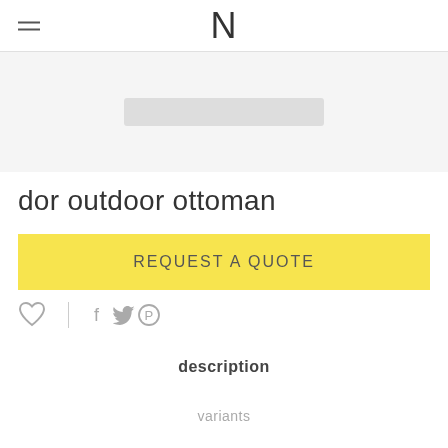N
[Figure (photo): Product image area showing partial view of the dor outdoor ottoman]
dor outdoor ottoman
REQUEST A QUOTE
[Figure (other): Social sharing icons: heart/favorite, divider, facebook, twitter, pinterest]
description
variants